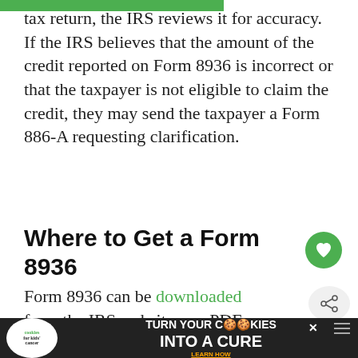tax return, the IRS reviews it for accuracy. If the IRS believes that the amount of the credit reported on Form 8936 is incorrect or that the taxpayer is not eligible to claim the credit, they may send the taxpayer a Form 886-A requesting clarification.
Where to Get a Form 8936
Form 8936 can be downloaded from the IRS website as a PDF.
If you use a tax software to file your taxes, you ca...